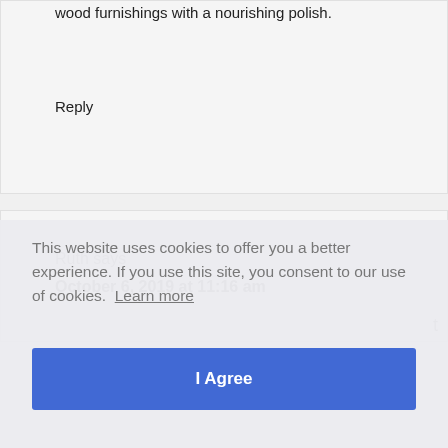wood furnishings with a nourishing polish.
Reply
Ruth says
October 6, 2019 at 11:16 am
This website uses cookies to offer you a better experience. If you use this site, you consent to our use of cookies. Learn more
I Agree